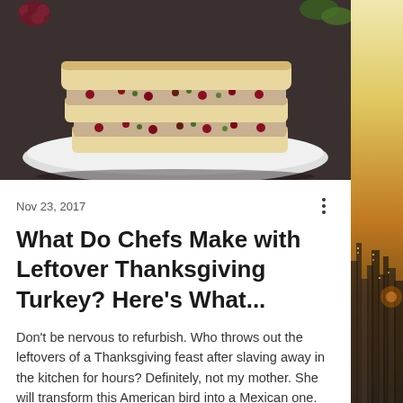[Figure (photo): A turkey salad sandwich on white bread, sliced and stacked on a white plate, with cranberries and pistachios visible in the filling. Dark background with grape cluster visible.]
Nov 23, 2017
What Do Chefs Make with Leftover Thanksgiving Turkey? Here's What...
Don't be nervous to refurbish. Who throws out the leftovers of a Thanksgiving feast after slaving away in the kitchen for hours? Definitely, not my mother. She will transform this American bird into a Mexican one. While I'll make myself a quick